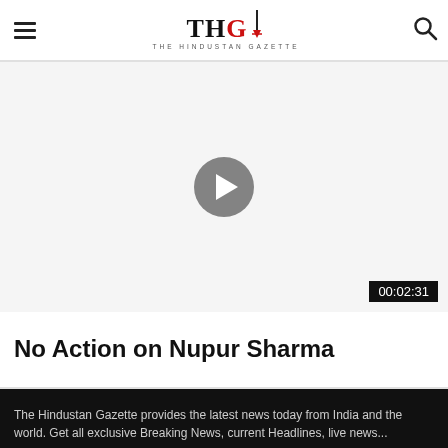THG — THE HINDUSTAN GAZETTE
[Figure (screenshot): Video player area with grey background, circular play button in center, and duration badge '00:02:31' in bottom right corner]
No Action on Nupur Sharma
The Hindustan Gazette provides the latest news today from India and the world. Get all exclusive Breaking News, current Headlines, live news...